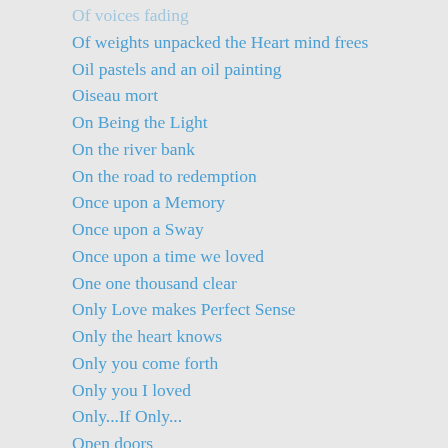Of voices fading
Of weights unpacked the Heart mind frees
Oil pastels and an oil painting
Oiseau mort
On Being the Light
On the river bank
On the road to redemption
Once upon a Memory
Once upon a Sway
Once upon a time we loved
One one thousand clear
Only Love makes Perfect Sense
Only the heart knows
Only you come forth
Only you I loved
Only...If Only...
Open doors
Open up the box
Open your eyes now Adam
Opposites
Opposites melding